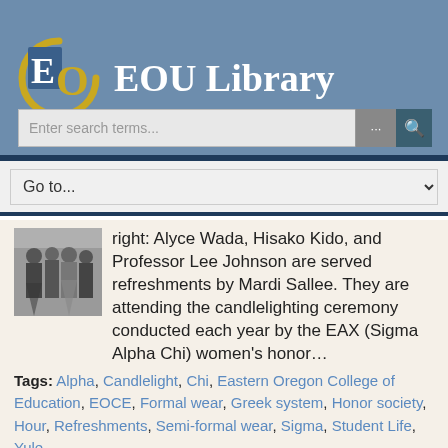EOU Library
Enter search terms...
Go to...
[Figure (photo): Black and white thumbnail photo of people in formal wear at the candlelighting ceremony]
right: Alyce Wada, Hisako Kido, and Professor Lee Johnson are served refreshments by Mardi Sallee. They are attending the candlelighting ceremony conducted each year by the EAX (Sigma Alpha Chi) women's honor…
Tags: Alpha, Candlelight, Chi, Eastern Oregon College of Education, EOCE, Formal wear, Greek system, Honor society, Hour, Refreshments, Semi-formal wear, Sigma, Student Life, Yule